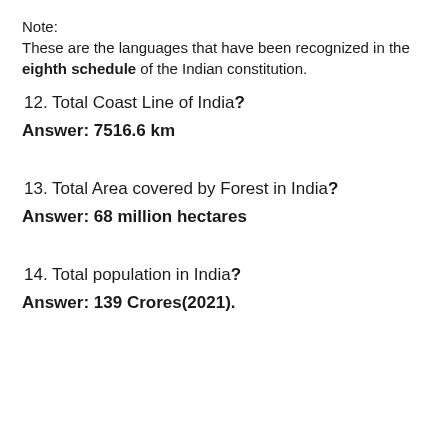Note:
These are the languages that have been recognized in the eighth schedule of the Indian constitution.
12. Total Coast Line of India?
Answer: 7516.6 km
13. Total Area covered by Forest in India?
Answer: 68 million hectares
14. Total population in India?
Answer: 139 Crores(2021).